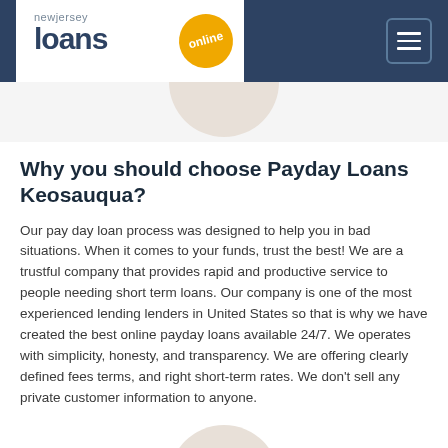[Figure (logo): New Jersey Loans Online logo with orange circle badge and hamburger menu button on dark navy header]
Why you should choose Payday Loans Keosauqua?
Our pay day loan process was designed to help you in bad situations. When it comes to your funds, trust the best! We are a trustful company that provides rapid and productive service to people needing short term loans. Our company is one of the most experienced lending lenders in United States so that is why we have created the best online payday loans available 24/7. We operates with simplicity, honesty, and transparency. We are offering clearly defined fees terms, and right short-term rates. We don't sell any private customer information to anyone.